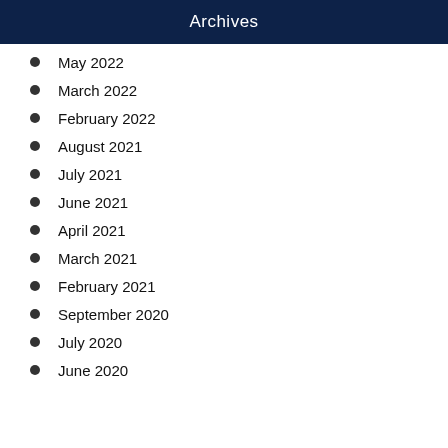Archives
May 2022
March 2022
February 2022
August 2021
July 2021
June 2021
April 2021
March 2021
February 2021
September 2020
July 2020
June 2020